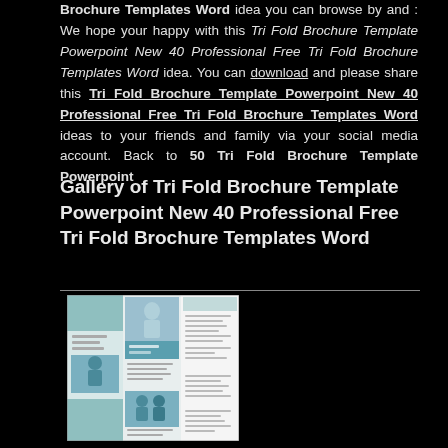Brochure Templates Word idea you can browse by and : We hope your happy with this Tri Fold Brochure Template Powerpoint New 40 Professional Free Tri Fold Brochure Templates Word idea. You can download and please share this Tri Fold Brochure Template Powerpoint New 40 Professional Free Tri Fold Brochure Templates Word ideas to your friends and family via your social media account. Back to 50 Tri Fold Brochure Template Powerpoint
Gallery of Tri Fold Brochure Template Powerpoint New 40 Professional Free Tri Fold Brochure Templates Word
[Figure (illustration): A brochure template preview showing a trifold brochure design with teal/blue color scheme, featuring images of people and text panels arranged across three panels.]